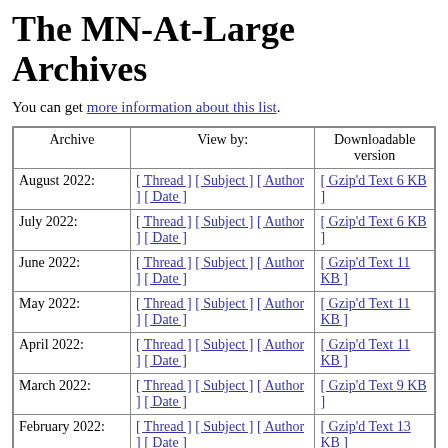The MN-At-Large Archives
You can get more information about this list.
| Archive | View by: | Downloadable version |
| --- | --- | --- |
| August 2022: | [ Thread ] [ Subject ] [ Author ] [ Date ] | [ Gzip'd Text 6 KB ] |
| July 2022: | [ Thread ] [ Subject ] [ Author ] [ Date ] | [ Gzip'd Text 6 KB ] |
| June 2022: | [ Thread ] [ Subject ] [ Author ] [ Date ] | [ Gzip'd Text 11 KB ] |
| May 2022: | [ Thread ] [ Subject ] [ Author ] [ Date ] | [ Gzip'd Text 11 KB ] |
| April 2022: | [ Thread ] [ Subject ] [ Author ] [ Date ] | [ Gzip'd Text 11 KB ] |
| March 2022: | [ Thread ] [ Subject ] [ Author ] [ Date ] | [ Gzip'd Text 9 KB ] |
| February 2022: | [ Thread ] [ Subject ] [ Author ] [ Date ] | [ Gzip'd Text 13 KB ] |
| (partial row visible) | [ Thread ] [ Subject ] [ | [ Gzip'd Text 7 KB |